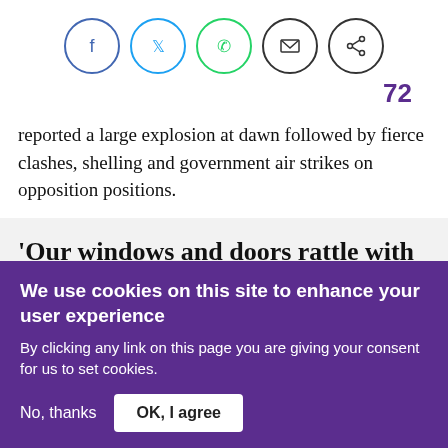[Figure (infographic): Social sharing bar with Facebook, Twitter, WhatsApp, Email, and Share icons in circles]
72
reported a large explosion at dawn followed by fierce clashes, shelling and government air strikes on opposition positions.
'Our windows and doors rattle with each bombardment. I'm frightened
We use cookies on this site to enhance your user experience
By clicking any link on this page you are giving your consent for us to set cookies.